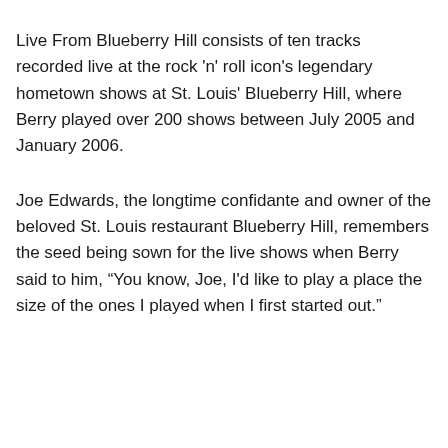Live From Blueberry Hill consists of ten tracks recorded live at the rock 'n' roll icon's legendary hometown shows at St. Louis' Blueberry Hill, where Berry played over 200 shows between July 2005 and January 2006.
Joe Edwards, the longtime confidante and owner of the beloved St. Louis restaurant Blueberry Hill, remembers the seed being sown for the live shows when Berry said to him, “You know, Joe, I'd like to play a place the size of the ones I played when I first started out.”